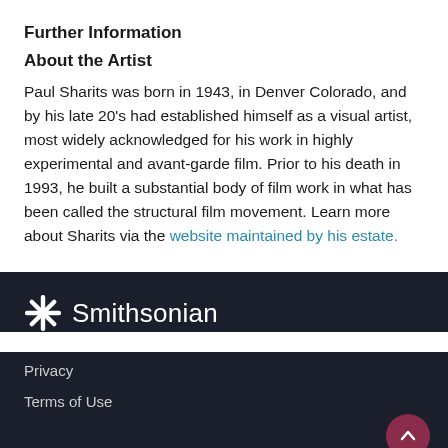Further Information
About the Artist
Paul Sharits was born in 1943, in Denver Colorado, and by his late 20's had established himself as a visual artist, most widely acknowledged for his work in highly experimental and avant-garde film. Prior to his death in 1993, he built a substantial body of film work in what has been called the structural film movement. Learn more about Sharits via the website maintained by his estate.
[Figure (logo): Smithsonian Institution logo with sunburst icon and 'Smithsonian' text in white on dark background]
Privacy
Terms of Use